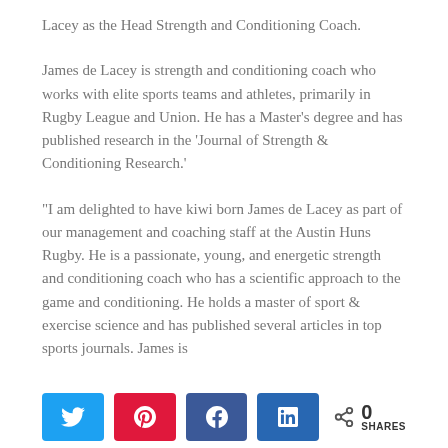Lacey as the Head Strength and Conditioning Coach.
James de Lacey is strength and conditioning coach who works with elite sports teams and athletes, primarily in Rugby League and Union. He has a Master’s degree and has published research in the ‘Journal of Strength & Conditioning Research.’
“I am delighted to have kiwi born James de Lacey as part of our management and coaching staff at the Austin Huns Rugby. He is a passionate, young, and energetic strength and conditioning coach who has a scientific approach to the game and conditioning. He holds a master of sport & exercise science and has published several articles in top sports journals. James is